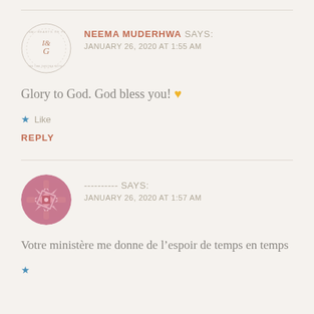NEEMA MUDERHWA SAYS: JANUARY 26, 2020 AT 1:55 AM
Glory to God. God bless you! 💛
★ Like
REPLY
---------- SAYS: JANUARY 26, 2020 AT 1:57 AM
Votre ministère me donne de l'espoir de temps en temps
★ Like